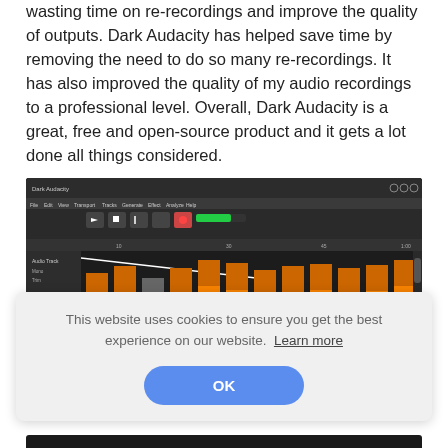wasting time on re-recordings and improve the quality of outputs. Dark Audacity has helped save time by removing the need to do so many re-recordings. It has also improved the quality of my audio recordings to a professional level. Overall, Dark Audacity is a great, free and open-source product and it gets a lot done all things considered.
[Figure (screenshot): Screenshot of Dark Audacity audio editing software showing the DAW interface with orange waveform bars on a dark background, with a cookie consent dialog overlay reading 'This website uses cookies to ensure you get the best experience on our website. Learn more' and an OK button.]
[Figure (screenshot): Partial bottom edge of another screenshot, dark background]